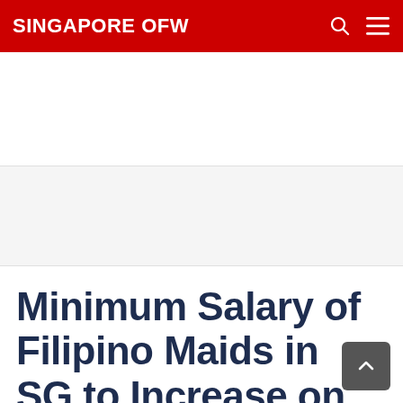SINGAPORE OFW
Minimum Salary of Filipino Maids in SG to Increase on May 1